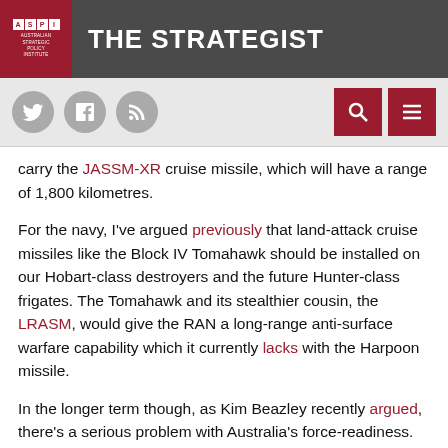THE STRATEGIST — Australian Strategic Policy Institute
carry the JASSM-XR cruise missile, which will have a range of 1,800 kilometres.
For the navy, I've argued previously that land-attack cruise missiles like the Block IV Tomahawk should be installed on our Hobart-class destroyers and the future Hunter-class frigates. The Tomahawk and its stealthier cousin, the LRASM, would give the RAN a long-range anti-surface warfare capability which it currently lacks with the Harpoon missile.
In the longer term though, as Kim Beazley recently argued, there's a serious problem with Australia's force-readiness. The current plans for our future force structure depend heavily on Attack-class submarines to provide long-range strike and deterrence. However, political interests in sustaining naval shipbuilding mean that the first of the new submarines won't be